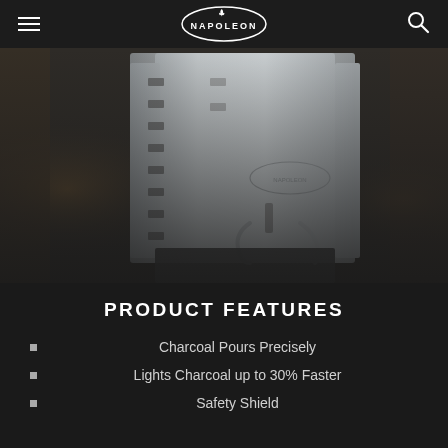Napoleon (logo)
[Figure (photo): Close-up product photo of a stainless steel Napoleon charcoal chimney starter with ventilation holes and folding handles, set against a dark wooden background.]
PRODUCT FEATURES
Charcoal Pours Precisely
Lights Charcoal up to 30% Faster
Safety Shield